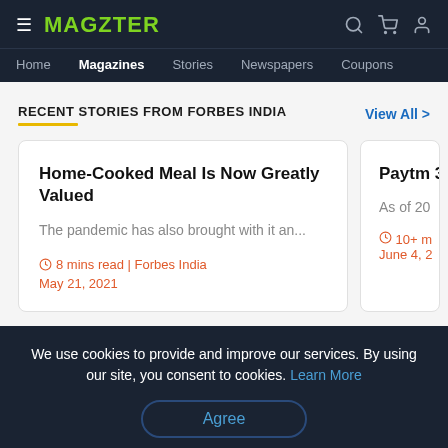MAGZTER — Home | Magazines | Stories | Newspapers | Coupons
RECENT STORIES FROM FORBES INDIA
View All >
Home-Cooked Meal Is Now Greatly Valued
The pandemic has also brought with it an...
⏱ 8 mins read | Forbes India
May 21, 2021
Paytm 3...
As of 20...
⏱ 10+ m...
June 4, 2...
We use cookies to provide and improve our services. By using our site, you consent to cookies. Learn More
Agree